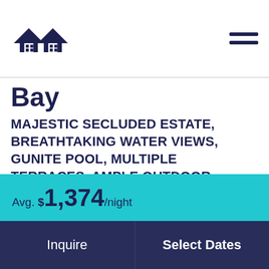[Figure (logo): Two overlapping house outlines forming an infinity-like logo in dark navy blue]
Bay
MAJESTIC SECLUDED ESTATE, BREATHTAKING WATER VIEWS, GUNITE POOL, MULTIPLE TERRACES, AMPLE OUTDOOR SEATING, PRIVATE DOCK, 1,500 SQ FT CABANA AND GUEST SUITE OVER GARAGE, STEPS TO THE BAY.
Avg. $1,374/night
Inquire
Select Dates